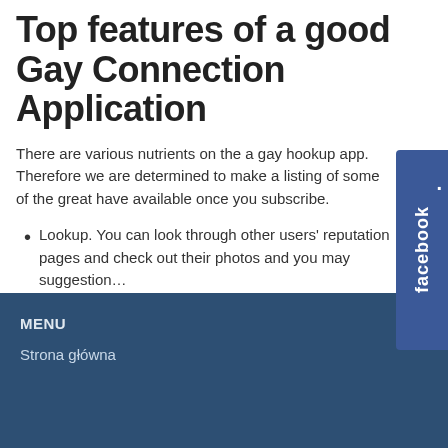Top features of a good Gay Connection Application
There are various nutrients on the a gay hookup app. Therefore we are determined to make a listing of some of the great have available once you subscribe.
Lookup. You can look through other users' reputation pages and check out their photos and you may suggestion… Read more
[Figure (other): Facebook social share sidebar tab in blue]
MENU
Strona główna